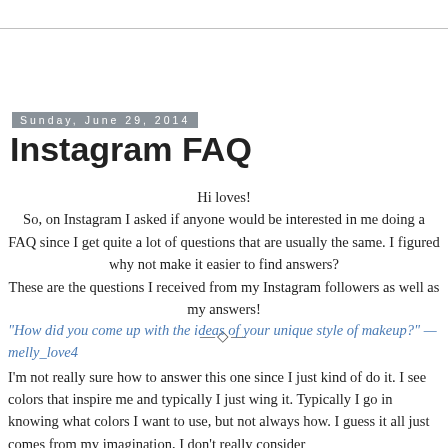Sunday, June 29, 2014
Instagram FAQ
Hi loves!
So, on Instagram I asked if anyone would be interested in me doing a FAQ since I get quite a lot of questions that are usually the same. I figured why not make it easier to find answers?
These are the questions I received from my Instagram followers as well as my answers!
"How did you come up with the ideas of your unique style of makeup?" —melly_love4
I'm not really sure how to answer this one since I just kind of do it. I see colors that inspire me and typically I just wing it. Typically I go in knowing what colors I want to use, but not always how. I guess it all just comes from my imagination, I don't really consider